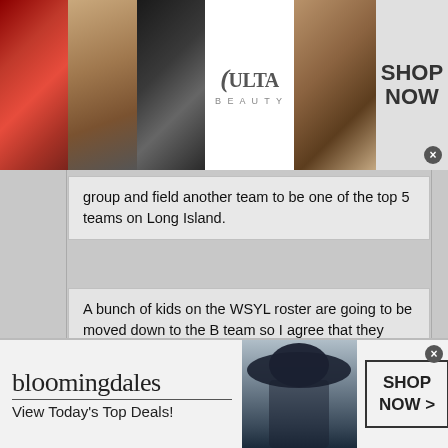[Figure (photo): ULTA beauty advertisement banner with makeup photos (lips, brush, eye) and ULTA logo with SHOP NOW button]
group and field another team to be one of the top 5 teams on Long Island.
A bunch of kids on the WSYL roster are going to be moved down to the B team so I agree that they should be very good.
Why would they move down? No need to. All tournaments are grade based with no restrictions on roster size. This time of year Express B team parents have high hopes. Go back and read last years predictions. Enjoy the drive to Delaware.
[Figure (photo): Bloomingdale's advertisement banner with logo, 'View Today's Top Deals!' tagline, model with hat, and SHOP NOW button]